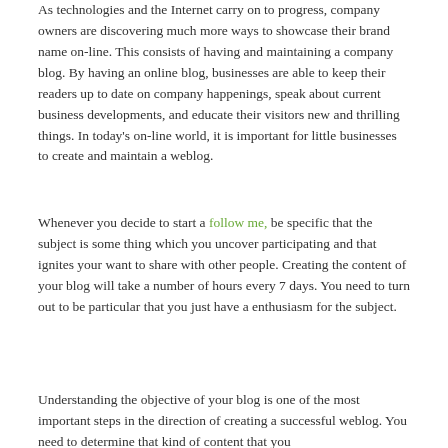As technologies and the Internet carry on to progress, company owners are discovering much more ways to showcase their brand name on-line. This consists of having and maintaining a company blog. By having an online blog, businesses are able to keep their readers up to date on company happenings, speak about current business developments, and educate their visitors new and thrilling things. In today's on-line world, it is important for little businesses to create and maintain a weblog.
Whenever you decide to start a follow me, be specific that the subject is some thing which you uncover participating and that ignites your want to share with other people. Creating the content of your blog will take a number of hours every 7 days. You need to turn out to be particular that you just have a enthusiasm for the subject.
Understanding the objective of your blog is one of the most important steps in the direction of creating a successful weblog. You need to determine that kind of content that you